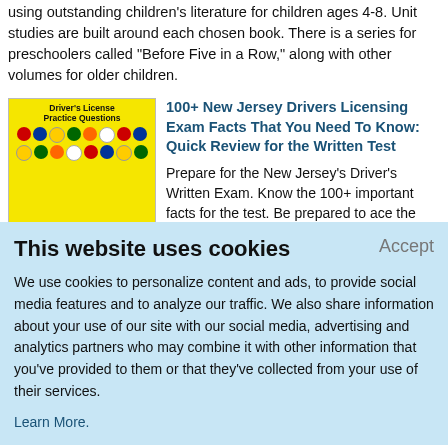using outstanding children's literature for children ages 4-8. Unit studies are built around each chosen book. There is a series for preschoolers called "Before Five in a Row," along with other volumes for older children.
[Figure (illustration): Book cover: Driver's License Practice Questions, yellow background with traffic signs]
100+ New Jersey Drivers Licensing Exam Facts That You Need To Know: Quick Review for the Written Test
Prepare for the New Jersey's Driver's Written Exam. Know the 100+ important facts for the test. Be prepared to ace the exam!
This website uses cookies
Accept
We use cookies to personalize content and ads, to provide social media features and to analyze our traffic. We also share information about your use of our site with our social media, advertising and analytics partners who may combine it with other information that you've provided to them or that they've collected from your use of their services.
Learn More.